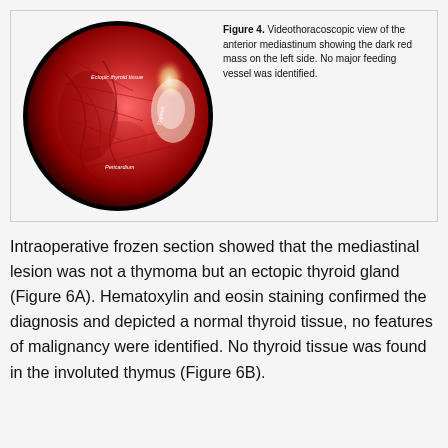[Figure (photo): Videothoracoscopic endoscopic photograph showing a circular field view of the anterior mediastinum with a dark red mass. Labels visible: 'Ectopic thyroid tissue', 'Thymus', 'Pericardium'.]
Figure 4. Videothoracoscopic view of the anterior mediastinum showing the dark red mass on the left side. No major feeding vessel was identified.
Intraoperative frozen section showed that the mediastinal lesion was not a thymoma but an ectopic thyroid gland (Figure 6A). Hematoxylin and eosin staining confirmed the diagnosis and depicted a normal thyroid tissue, no features of malignancy were identified. No thyroid tissue was found in the involuted thymus (Figure 6B).